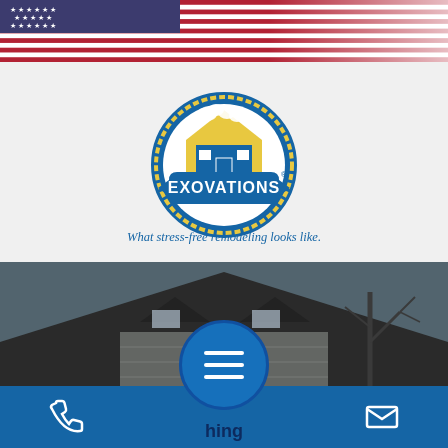[Figure (photo): American flag waving in top portion of page, showing stars and stripes]
[Figure (logo): Exovations logo: circular badge with house icon in blue and gold, blue banner with EXOVATIONS text, registered trademark symbol, tagline 'What stress-free remodeling looks like.']
[Figure (photo): Photo of a house roofline with dark shingles, white siding, dormers with windows, and bare trees in the background against a grey sky]
[Figure (infographic): Bottom navigation bar in blue with phone icon on left, hamburger menu circle button in center, envelope/email icon on right. Partial text 'hing' visible below menu circle.]